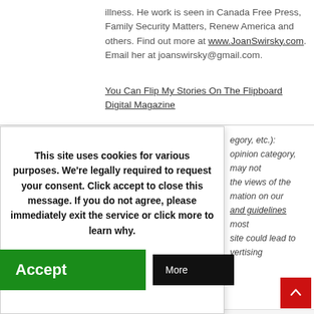illness. He work is seen in Canada Free Press, Family Security Matters, Renew America and others. Find out more at www.JoanSwirsky.com. Email her at joanswirsky@gmail.com.
You Can Flip My Stories On The Flipboard Digital Magazine
This site uses cookies for various purposes. We're legally required to request your consent. Click accept to close this message. If you do not agree, please immediately exit the service or click more to learn why.
egory, etc.): opinion category, may not the views of the mation on our and guidelines most site could lead to vertising